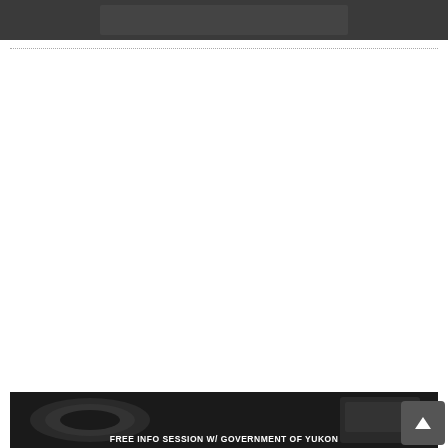[Figure (photo): Partial top image strip, dark background]
[Figure (photo): Farmers Market building with wooden structure, red white and blue bunting decorations, sign reading 'Farmers Market Saturday 11am-5pm'. Overlaid with event details card.]
Hän Ghå Chukėt Träätätsey Artist Market
September 3 @ 11:00 am - 3:00 pm
Front Street Picnic Shelter
[Figure (photo): Partial bottom image strip in black and white, showing audio equipment. Text overlay reads: FREE INFO SESSION W/ GOVERNMENT OF YUKON]